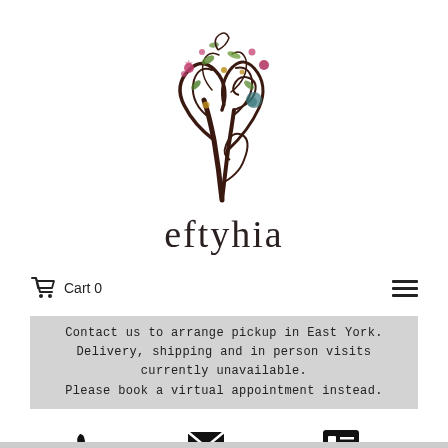[Figure (logo): Eftyhia decorative tree logo with floral and botanical illustration in brown, pink, green, and teal colors, with the brand name 'eftyhia' in serif font below]
Cart 0
Contact us to arrange pickup in East York. Delivery, shipping and in person visits currently unavailable. Please book a virtual appointment instead.
Phone   Email   Contact Form